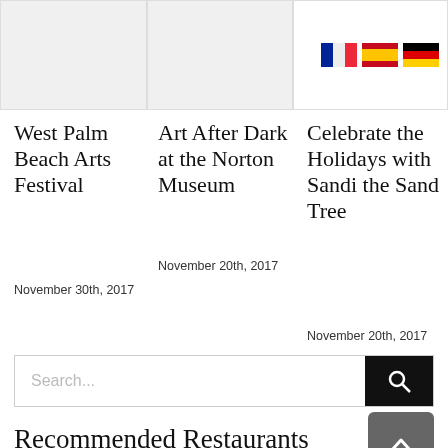[Figure (photo): Three image placeholder boxes at top, with French, Spanish, and German flag icons in the top-right area]
West Palm Beach Arts Festival
November 30th, 2017
Art After Dark at the Norton Museum
November 20th, 2017
Celebrate the Holidays with Sandi the Sand Tree
November 20th, 2017
Search...
Recommended Restaurants
> West Palm Beach – CityPlace